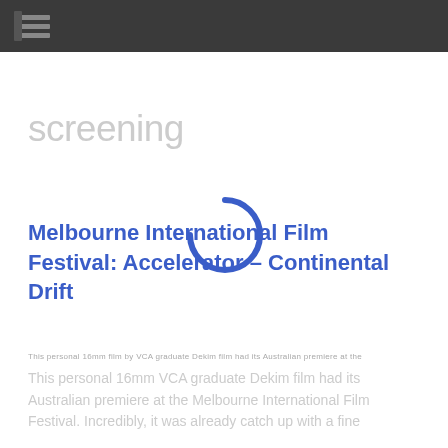screening
Melbourne International Film Festival: Accelerator – Continental Drift
This personal 16mm VCA graduate short film had its Australian premiere at the Melbourne International Film Festival. Incredibly, it was already catch up with a fine...